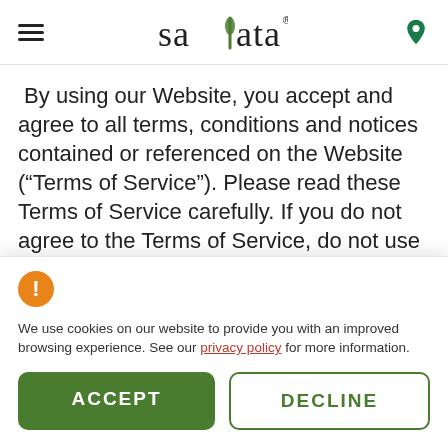salata [logo with hamburger menu and location icon]
By using our Website, you accept and agree to all terms, conditions and notices contained or referenced on the Website (“Terms of Service”). Please read these Terms of Service carefully. If you do not agree to the Terms of Service, do not use our Website. By accessing, using, or downloading in any way
We use cookies on our website to provide you with an improved browsing experience. See our privacy policy for more information.
ACCEPT
DECLINE